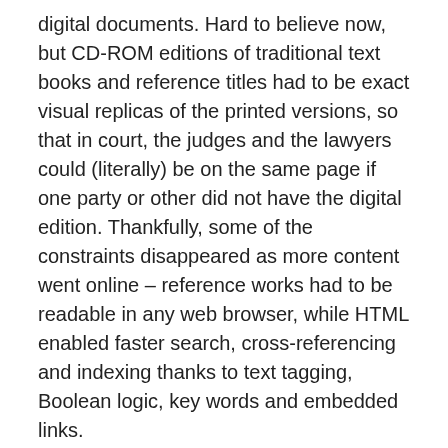digital documents. Hard to believe now, but CD-ROM editions of traditional text books and reference titles had to be exact visual replicas of the printed versions, so that in court, the judges and the lawyers could (literally) be on the same page if one party or other did not have the digital edition. Thankfully, some of the constraints disappeared as more content went online – reference works had to be readable in any web browser, while HTML enabled faster search, cross-referencing and indexing thanks to text tagging, Boolean logic, key words and embedded links.
The second global firm I worked for was Standard & Poor's, part of the The McGraw-Hill Companies (now S&P Global). Similar to Thomson, when I started with McGraw-Hill, the McGraw family were major shareholders, and the group had extensive interests in broadcasting, magazines and education publishing, as well as financial